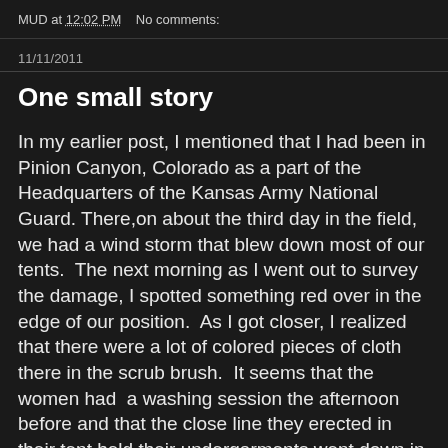MUD at 12:02 PM    No comments:
11/11/2011
One small story
In my earlier post, I mentioned that I had been in Pinion Canyon, Colorado as a part of the Headquarters of the Kansas Army National Guard. There,on about the third day in the field, we had a wind storm that blew down most of our tents.  The next morning as I went out to survey the damage, I spotted something red over in the edge of our position.  As I got closer, I realized that there were a lot of colored pieces of cloth there in the scrub brush.  It seems that the women had  a washing session the afternoon before and that the close line they erected in their tent held their undergarments went down in the storm.  Their undergarments were now scattered across the backside of our camp